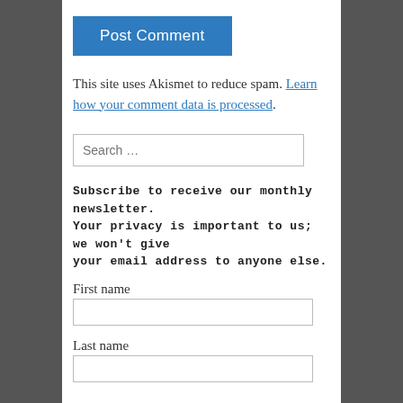Post Comment
This site uses Akismet to reduce spam. Learn how your comment data is processed.
Search …
Subscribe to receive our monthly newsletter. Your privacy is important to us; we won't give your email address to anyone else.
First name
Last name